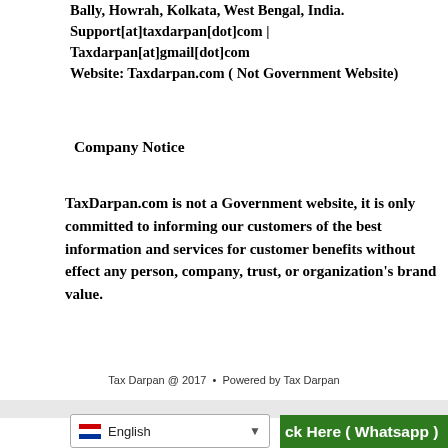Bally, Howrah, Kolkata, West Bengal, India. Support[at]taxdarpan[dot]com | Taxdarpan[at]gmail[dot]com Website: Taxdarpan.com ( Not Government Website)
Company Notice
TaxDarpan.com is not a Government website, it is only committed to informing our customers of the best information and services for customer benefits without effect any person, company, trust, or organization's brand value.
Tax Darpan @ 2017 • Powered by Tax Darpan